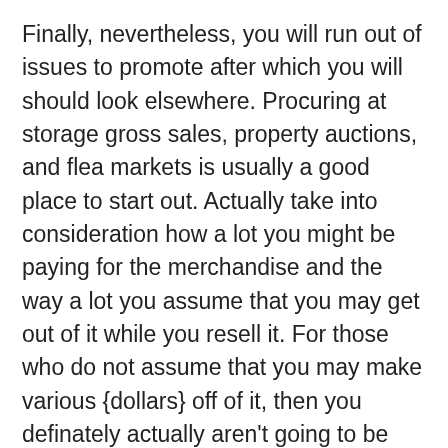Finally, nevertheless, you will run out of issues to promote after which you will should look elsewhere. Procuring at storage gross sales, property auctions, and flea markets is usually a good place to start out. Actually take into consideration how a lot you might be paying for the merchandise and the way a lot you assume that you may get out of it while you resell it. For those who do not assume that you may make various {dollars} off of it, then you definately actually aren't going to be making a lot cash on eBay, particularly while you take your effort and time into consideration.
One other technique to generate profits on eBay is to buy gadgets from a wholesaler and to promote them at a worth that's considerably decrease than what customers can discover at their native mall. Many individuals store on eBay exactly due to the discounts they can get and